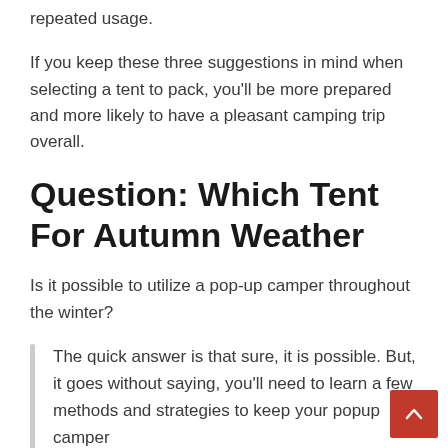repeated usage.
If you keep these three suggestions in mind when selecting a tent to pack, you'll be more prepared and more likely to have a pleasant camping trip overall.
Question: Which Tent For Autumn Weather
Is it possible to utilize a pop-up camper throughout the winter?
The quick answer is that sure, it is possible. But, it goes without saying, you'll need to learn a few methods and strategies to keep your popup camper